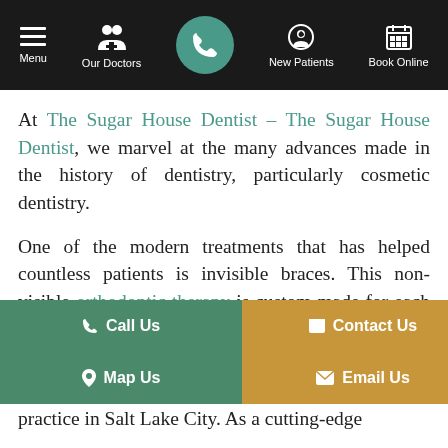Menu | Our Doctors | [Phone] | New Patients | Book Online
At The Sugar House Dentist – The Sugar House Dentist, we marvel at the many advances made in the history of dentistry, particularly cosmetic dentistry.
One of the modern treatments that has helped countless patients is invisible braces. This non-visible orthodontic therapy is custom made for each patient. They are transparent and removable and will help you achieve your desired smile in about 3 to 18 months.
practice in Salt Lake City. As a cutting-edge